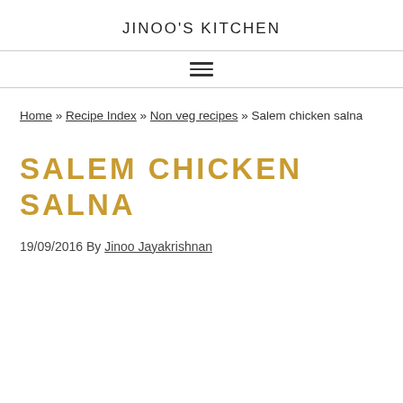JINOO'S KITCHEN
Home » Recipe Index » Non veg recipes » Salem chicken salna
SALEM CHICKEN SALNA
19/09/2016 By Jinoo Jayakrishnan